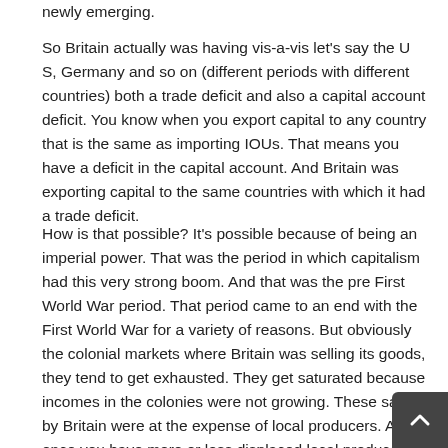newly emerging.
So Britain actually was having vis-a-vis let's say the U S, Germany and so on (different periods with different countries) both a trade deficit and also a capital account deficit. You know when you export capital to any country that is the same as importing IOUs. That means you have a deficit in the capital account. And Britain was exporting capital to the same countries with which it had a trade deficit.
How is that possible? It's possible because of being an imperial power. That was the period in which capitalism had this very strong boom. And that was the pre First World War period. That period came to an end with the First World War for a variety of reasons. But obviously the colonial markets where Britain was selling its goods, they tend to get exhausted. They get saturated because incomes in the colonies were not growing. These sales by Britain were at the expense of local producers. And once you have more or less displaced local producers